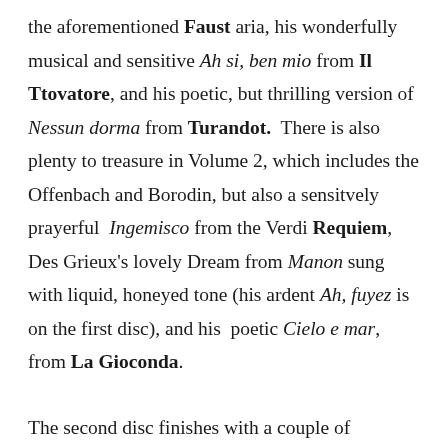the aforementioned Faust aria, his wonderfully musical and sensitive Ah si, ben mio from Il Ttovatore, and his poetic, but thrilling version of Nessun dorma from Turandot.  There is also plenty to treasure in Volume 2, which includes the Offenbach and Borodin, but also a sensitvely prayerful  Ingemisco from the Verdi Requiem, Des Grieux's lovely Dream from Manon sung with liquid, honeyed tone (his ardent Ah, fuyez is on the first disc), and his  poetic Cielo e mar, from La Gioconda.
The second disc finishes with a couple of unexpected examples of his work in Lieder, a gorgeously lyrical Beethoven Adelaide, and a beautifully restrained and rapt account of Strauss's